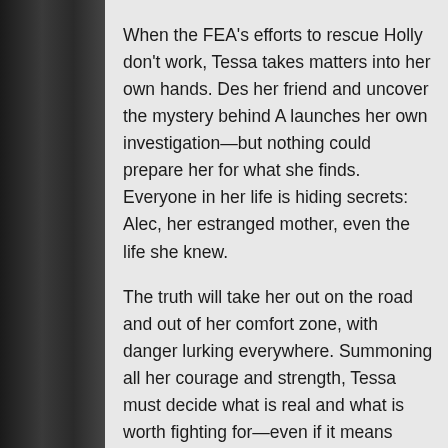When the FEA's efforts to rescue Holly don't work, Tessa takes matters into her own hands. Desperate to save her friend and uncover the mystery behind A launches her own investigation—but nothing could prepare her for what she finds. Everyone in her life is hiding secrets: Alec, her estranged mother, even the life she knew. The truth will take her out on the road and out of her comfort zone, with danger lurking everywhere. Summoning all her courage and strength, Tessa must decide what is real and what is worth fighting for—even if it means going up against the life she thought she wanted. Her journey will leave readers breathless.